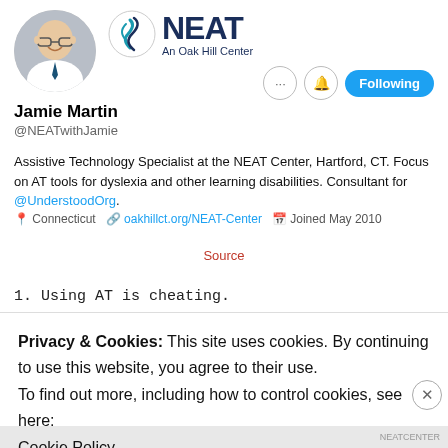[Figure (photo): Twitter/social media profile page for Jamie Martin, Assistive Technology Specialist at NEAT Center. Shows profile photo of a bald man with glasses, NEAT An Oak Hill Center logo, Following button, bio text, location and website info, and a source link.]
Jamie Martin
@NEATwithJamie
Assistive Technology Specialist at the NEAT Center, Hartford, CT. Focus on AT tools for dyslexia and other learning disabilities. Consultant for @UnderstoodOrg.
Connecticut   oakhillct.org/NEAT-Center   Joined May 2010
Source
1. Using AT is cheating.
Privacy & Cookies: This site uses cookies. By continuing to use this website, you agree to their use.
To find out more, including how to control cookies, see here:
Cookie Policy
Close and accept